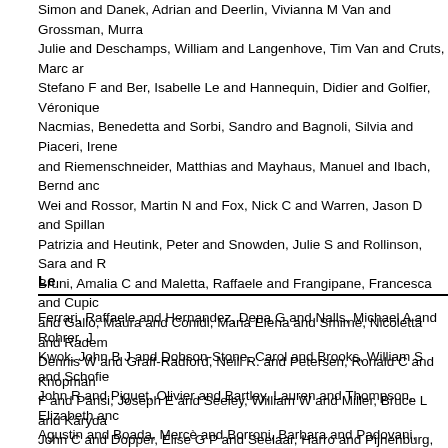Simon and Danek, Adrian and Deerlin, Vivianna M Van and Grossman, Murra Julie and Deschamps, William and Langenhove, Tim Van and Cruts, Marc ar Stefano F and Ber, Isabelle Le and Hannequin, Didier and Golfier, Véronique Nacmias, Benedetta and Sorbi, Sandro and Bagnoli, Silvia and Piaceri, Irene and Riemenschneider, Matthias and Mayhaus, Manuel and Ibach, Bernd anc Wei and Rossor, Martin N and Fox, Nick C and Warren, Jason D and Spillan Patrizia and Heutink, Peter and Snowden, Julie S and Rollinson, Sara and R Bruni, Amalia C and Maletta, Raffaele and Frangipane, Francesca and Cupic and Gallo, Maura and Conidi, Maria Elena and Smirne, Nicoletta and Radem Dennis W and Graff-Radford, Neill R. and Petersen, Ronald C and Knopman F and Parisi, Joseph E and Seeley, William W and Miller, Bruce L and Karyda John C and Dopper, Elise G P and Seelaar, Harro and Pijnenburg, Yolande A Giancarlo and Capozzo, Rosa and Novelli, Valeria and Puca, Annibale A and and Milan, Graziella and Sorrentino, Paolo and Kristiansen, Mark and Chiang Florence and Rollin, Adeline and Deramecourt, Vincent and Lebert, Florence and Pickering-Brown, Stuart and Singleton, Andrew B and Hardy, John and N its subtypes: a genome-wide association study. The Lancet Neurology, 13 (7
Le
Ferrari, Raffaele and Hernandez, Dena G and Nalls, Michael A and Rohrer, J Kwok, John B J and Dobson-Stone, Carol and Brooks, William S and Schofie John R and Piguet, Olivier and Bartley, Lauren and Thompson, Elizabeth anc Agustin and Boada, Mercè and Borroni, Barbara and Padovani, Alessandro a Benussi, Luisa and Binetti, Giuliano and Ghidoni, Roberta and Forloni, Gianl and Serpente, Maria and Scarpini, Elio and Clarimón, Jordi and Lleó, Alberto and Nilsson, Karin and Nilsson, Christer and Mackenzie, Ian R A and Hsiung Grafman, Jordan and Morris, Christopher M and Attems, Johannes and Griffi Alan J and Pietrini, Pietro and Huey, Edward D and Wassermann, Eric M, ar